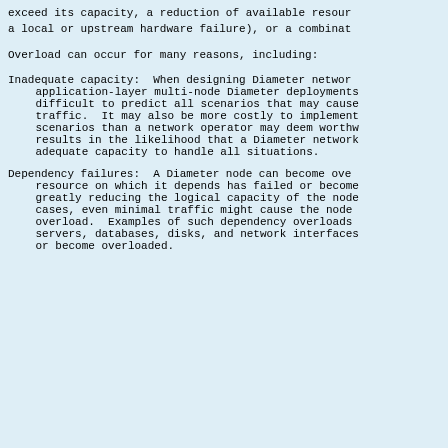exceed its capacity, a reduction of available resour a local or upstream hardware failure), or a combinat
Overload can occur for many reasons, including:
Inadequate capacity:  When designing Diameter networ application-layer multi-node Diameter deployments difficult to predict all scenarios that may cause traffic.  It may also be more costly to implement scenarios than a network operator may deem worthw results in the likelihood that a Diameter network adequate capacity to handle all situations.
Dependency failures:  A Diameter node can become ove resource on which it depends has failed or become greatly reducing the logical capacity of the node cases, even minimal traffic might cause the node overload.  Examples of such dependency overloads servers, databases, disks, and network interfaces or become overloaded.